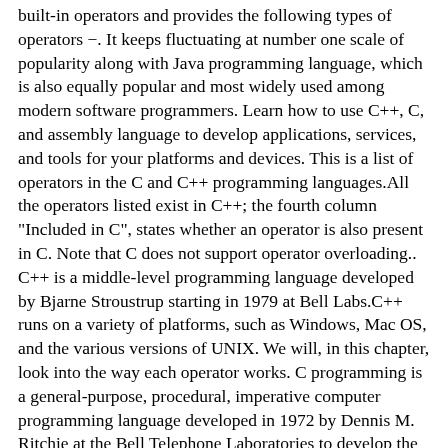built-in operators and provides the following types of operators −. It keeps fluctuating at number one scale of popularity along with Java programming language, which is also equally popular and most widely used among modern software programmers. Learn how to use C++, C, and assembly language to develop applications, services, and tools for your platforms and devices. This is a list of operators in the C and C++ programming languages.All the operators listed exist in C++; the fourth column "Included in C", states whether an operator is also present in C. Note that C does not support operator overloading.. C++ is a middle-level programming language developed by Bjarne Stroustrup starting in 1979 at Bell Labs.C++ runs on a variety of platforms, such as Windows, Mac OS, and the various versions of UNIX. We will, in this chapter, look into the way each operator works. C programming is a general-purpose, procedural, imperative computer programming language developed in 1972 by Dennis M. Ritchie at the Bell Telephone Laboratories to develop the UNIX operating system. Learn C# programming - for beginning developers, developers new to C#, and experienced C# / .NET developers Misc Operators. C is the most widely used computer language.
Powerbeats 3 Won't Turn Off, Minced Onion To Onion Powder Conversion, Ready Made Outdoor Steps, Jameson 5 String Banjo For Sale Uk, How Often Should Ash Trees Be Treated, Menger Springs Cibolo House